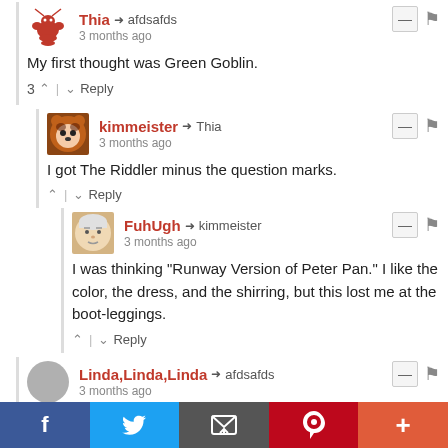Thia → afdsafds · 3 months ago
My first thought was Green Goblin.
3 ↑ | ↓ Reply
kimmeister → Thia · 3 months ago
I got The Riddler minus the question marks.
↑ | ↓ Reply
FuhUgh → kimmeister · 3 months ago
I was thinking "Runway Version of Peter Pan." I like the color, the dress, and the shirring, but this lost me at the boot-leggings.
↑ | ↓ Reply
Linda,Linda,Linda → afdsafds · 3 months ago
f  [twitter]  [email]  p  +